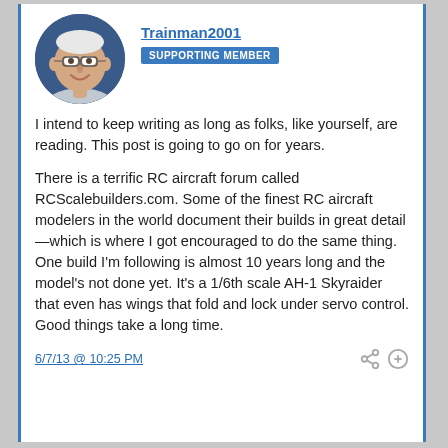[Figure (photo): Profile photo of user Trainman2001 — an older man with glasses, smiling, wearing a light shirt, with a dark blue background.]
Trainman2001
SUPPORTING MEMBER
I intend to keep writing as long as folks, like yourself, are reading. This post is going to go on for years.
There is a terrific RC aircraft forum called RCScalebuilders.com. Some of the finest RC aircraft modelers in the world document their builds in great detail—which is where I got encouraged to do the same thing. One build I'm following is almost 10 years long and the model's not done yet. It's a 1/6th scale AH-1 Skyraider that even has wings that fold and lock under servo control. Good things take a long time.
6/7/13 @ 10:25 PM